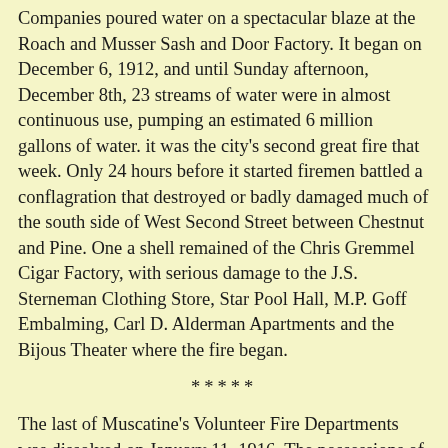Companies poured water on a spectacular blaze at the Roach and Musser Sash and Door Factory. It began on December 6, 1912, and until Sunday afternoon, December 8th, 23 streams of water were in almost continuous use, pumping an estimated 6 million gallons of water. it was the city's second great fire that week. Only 24 hours before it started firemen battled a conflagration that destroyed or badly damaged much of the south side of West Second Street between Chestnut and Pine. One a shell remained of the Chris Gremmel Cigar Factory, with serious damage to the J.S. Sterneman Clothing Store, Star Pool Hall, M.P. Goff Embalming, Carl D. Alderman Apartments and the Bijous Theater where the fire began.
*****
The last of Muscatine's Volunteer Fire Departments was dissolved on January 11, 1916. The possessions of the Relief Hose Company